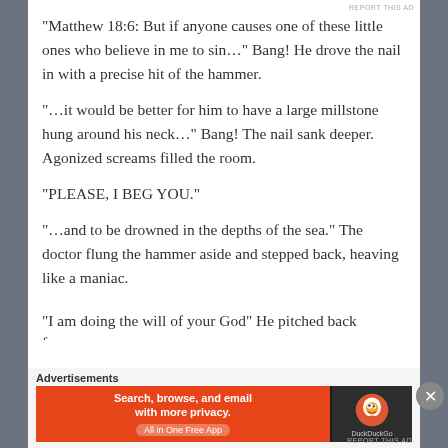“Matthew 18:6: But if anyone causes one of these little ones who believe in me to sin…” Bang! He drove the nail in with a precise hit of the hammer.
“…it would be better for him to have a large millstone hung around his neck…” Bang! The nail sank deeper. Agonized screams filled the room.
“PLEASE, I BEG YOU.”
“…and to be drowned in the depths of the sea.” The doctor flung the hammer aside and stepped back, heaving like a maniac.
“I am doing the will of your God” He pitched back from…
Advertisements
[Figure (other): DuckDuckGo advertisement banner: orange background with text 'Search, browse, and email with more privacy. All in One Free App' and DuckDuckGo logo on dark background]